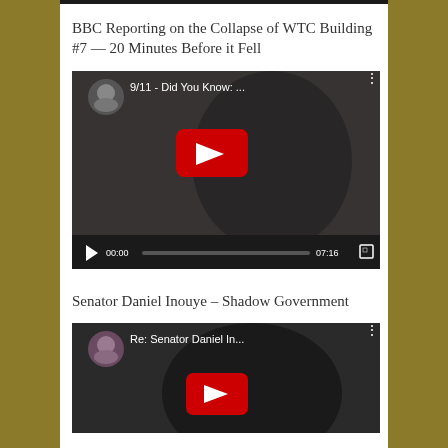BBC Reporting on the Collapse of WTC Building #7 — 20 Minutes Before it Fell
[Figure (screenshot): YouTube video embed showing '9/11 - Did You Know: ...' with video controls showing 00:00 / 07:16]
Senator Daniel Inouye – Shadow Government
[Figure (screenshot): YouTube video embed showing 'Re: Senator Daniel In...' with play button visible]